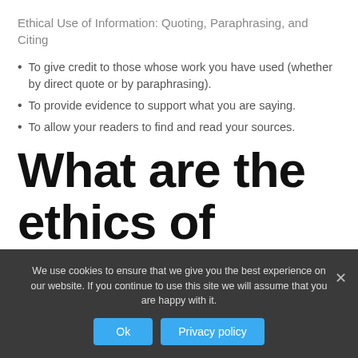Ethical Use of Information: Quoting, Paraphrasing, and Citing
To give credit to those whose work you have used (whether by direct quote or by paraphrasing).
To provide evidence to support what you are saying.
To allow your readers to find and read your sources.
What are the ethics of using
We use cookies to ensure that we give you the best experience on our website. If you continue to use this site we will assume that you are happy with it.